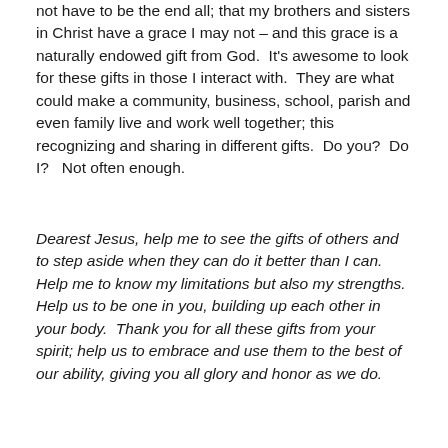not have to be the end all; that my brothers and sisters in Christ have a grace I may not – and this grace is a naturally endowed gift from God.  It's awesome to look for these gifts in those I interact with.  They are what could make a community, business, school, parish and even family live and work well together; this recognizing and sharing in different gifts.  Do you?  Do I?   Not often enough.
Dearest Jesus, help me to see the gifts of others and to step aside when they can do it better than I can.  Help me to know my limitations but also my strengths.  Help us to be one in you, building up each other in your body.  Thank you for all these gifts from your spirit; help us to embrace and use them to the best of our ability, giving you all glory and honor as we do.